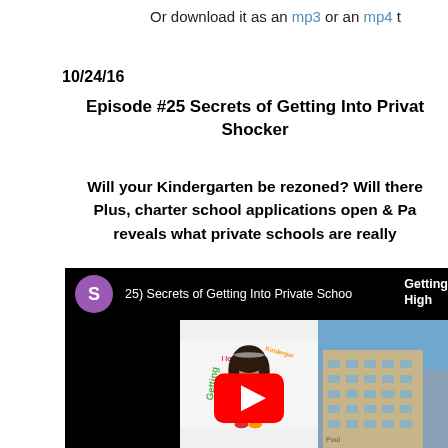Or download it as an mp3 or an mp4 t
10/24/16
Episode #25 Secrets of Getting Into Private Shocker
Will your Kindergarten be rezoned? Will there Plus, charter school applications open & Pa reveals what private schools are really
[Figure (screenshot): YouTube video embed showing episode 25 'Secrets of Getting Into Private School' with a young girl sitting cross-legged in a pink shirt, colorful letters spelling 'Getting', 'I Love NY', 'Kindergarten' in background, and a building image on the right. Red YouTube play button overlay visible.]